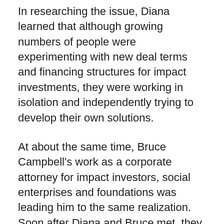In researching the issue, Diana learned that although growing numbers of people were experimenting with new deal terms and financing structures for impact investments, they were working in isolation and independently trying to develop their own solutions.
At about the same time, Bruce Campbell's work as a corporate attorney for impact investors, social enterprises and foundations was leading him to the same realization. Soon after Diana and Bruce met, they led an effort over the next two years to reach out to more than 100 impact investors and entrepreneurs. They and their team assembled a library of innovative, real-world impact transactions — complete with usage guidelines and sample legal language — that became the basis of the Impact Terms